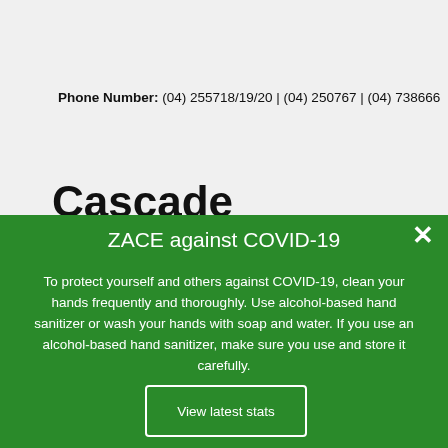Phone Number: (04) 255718/19/20 | (04) 250767 | (04) 738666
Cascade Consulting
ZACE against COVID-19
To protect yourself and others against COVID-19, clean your hands frequently and thoroughly. Use alcohol-based hand sanitizer or wash your hands with soap and water. If you use an alcohol-based hand sanitizer, make sure you use and store it carefully.
View latest stats